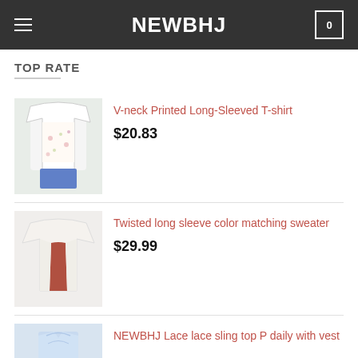NEWBHJ
TOP RATE
V-neck Printed Long-Sleeved T-shirt $20.83
Twisted long sleeve color matching sweater $29.99
NEWBHJ Lace lace sling top P daily with vest $28.80 $16.16
NEWBHJ Dress sexy lace perspective dress long skirt